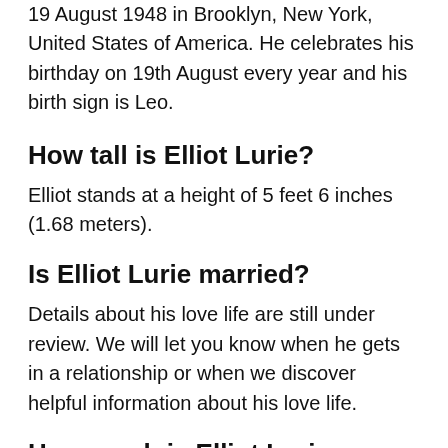19 August 1948 in Brooklyn, New York, United States of America. He celebrates his birthday on 19th August every year and his birth sign is Leo.
How tall is Elliot Lurie?
Elliot stands at a height of 5 feet 6 inches (1.68 meters).
Is Elliot Lurie married?
Details about his love life are still under review. We will let you know when he gets in a relationship or when we discover helpful information about his love life.
How much is Elliot Lurie worth?